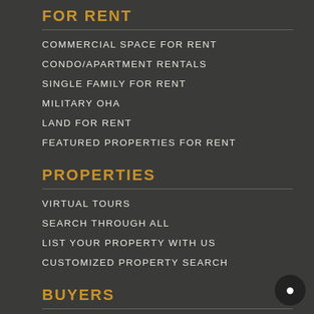FOR RENT
COMMERCIAL SPACE FOR RENT
CONDO/APARTMENT RENTALS
SINGLE FAMILY FOR RENT
MILITARY OHA
LAND FOR RENT
FEATURED PROPERTIES FOR RENT
PROPERTIES
VIRTUAL TOURS
SEARCH THROUGH ALL
LIST YOUR PROPERTY WITH US
CUSTOMIZED PROPERTY SEARCH
BUYERS
LET'S HELP YOU FIND A PROPERTY
MORTGAGE CALCULATOR